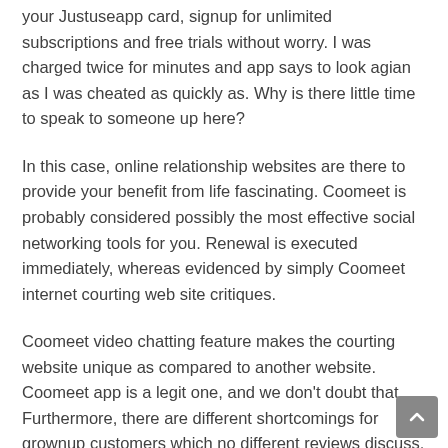your Justuseapp card, signup for unlimited subscriptions and free trials without worry. I was charged twice for minutes and app says to look agian as I was cheated as quickly as. Why is there little time to speak to someone up here?
In this case, online relationship websites are there to provide your benefit from life fascinating. Coomeet is probably considered possibly the most effective social networking tools for you. Renewal is executed immediately, whereas evidenced by simply Coomeet internet courting web site critiques.
Coomeet video chatting feature makes the courting website unique as compared to another website. Coomeet app is a legit one, and we don't doubt that. Furthermore, there are different shortcomings for grownup customers which no different reviews discuss. More chances you get to watch naked guys and women within the coomeet app, but sadly, you cannot chat with them for an extended duration, even with a premium membership.